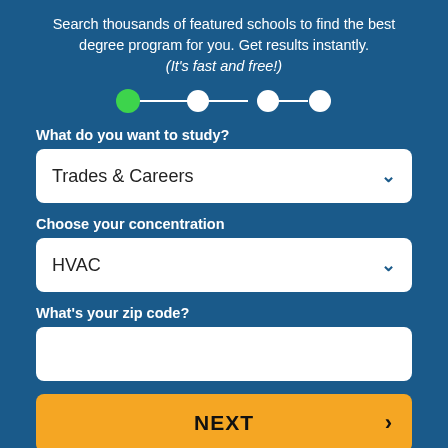Search thousands of featured schools to find the best degree program for you. Get results instantly. (It's fast and free!)
[Figure (infographic): Step progress indicator with 4 circles connected by lines. First circle is green (active), remaining three are white.]
What do you want to study?
Trades & Careers
Choose your concentration
HVAC
What's your zip code?
NEXT
Powered by: CAMPUS EXPLORER